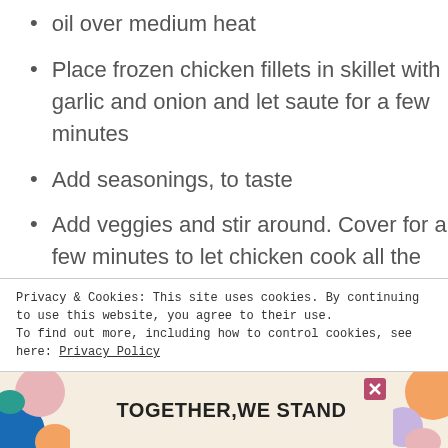oil over medium heat
Place frozen chicken fillets in skillet with garlic and onion and let saute for a few minutes
Add seasonings, to taste
Add veggies and stir around. Cover for a few minutes to let chicken cook all the way and help steam the veggies.
Steam the packet of rice according to instructions
Privacy & Cookies: This site uses cookies. By continuing to use this website, you agree to their use.
To find out more, including how to control cookies, see here: Privacy Policy
[Figure (advertisement): TOGETHER WE STAND advertisement banner with colorful abstract art on sides and a close button]